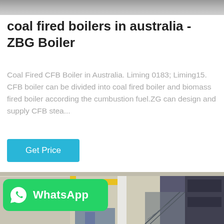[Figure (photo): Top partial photo of industrial boiler equipment, partially visible at top of page]
coal fired boilers in australia - ZBG Boiler
Coal Fired CFB Boiler in Australia. Liming 0183; Liming15. CFB boiler can be divided into coal fired boiler and biomass fired boiler according the cumbustion fuel.ZG can design and supply CFB stea...
[Figure (other): Get Price button - cyan/teal colored rectangular button]
[Figure (photo): Industrial boiler facility interior showing yellow pipes, metal framework, stairs, and large dark boiler equipment. WhatsApp badge overlaid at bottom left.]